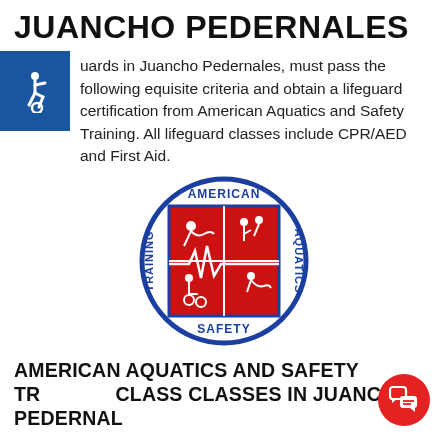JUANCHO PEDERNALES
lifeguards in Juancho Pedernales, must pass the following prerequisite criteria and obtain a lifeguard certification from American Aquatics and Safety Training. All lifeguard classes include CPR/AED and First Aid.
[Figure (logo): American Aquatics and Safety Training circular logo with red and blue colors, showing lifeguard activities and CPR scenes inside a square, with text AMERICAN TRAINING AQUATICS SAFETY around the border]
AMERICAN AQUATICS AND SAFETY TRAINING CLASS CLASSES IN JUANCHO PEDERNALES